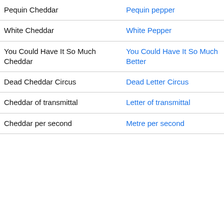|  |  |
| --- | --- |
| Pequin Cheddar | Pequin pepper |
| White Cheddar | White Pepper |
| You Could Have It So Much Cheddar | You Could Have It So Much Better |
| Dead Cheddar Circus | Dead Letter Circus |
| Cheddar of transmittal | Letter of transmittal |
| Cheddar per second | Metre per second |